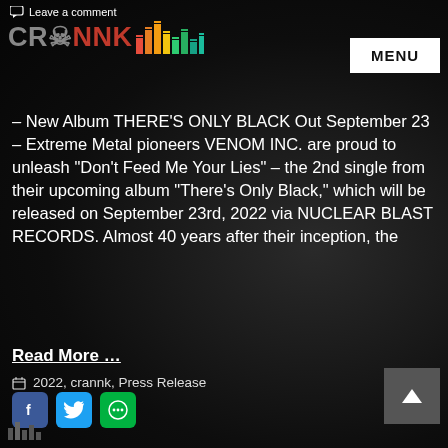Leave a comment
[Figure (logo): CRANNK logo with colorful bar chart equalizer graphic to the right]
MENU
– New Album THERE'S ONLY BLACK Out September 23 – Extreme Metal pioneers VENOM INC. are proud to unleash “Don’t Feed Me Your Lies” – the 2nd single from their upcoming album “There’s Only Black,” which will be released on September 23rd, 2022 via NUCLEAR BLAST RECORDS. Almost 40 years after their inception, the
Read More …
[Figure (infographic): Social share buttons: Facebook, Twitter, More Options (green circle icon)]
2022, crannk, Press Release
[Figure (logo): Partial CRANNK logo at bottom left]